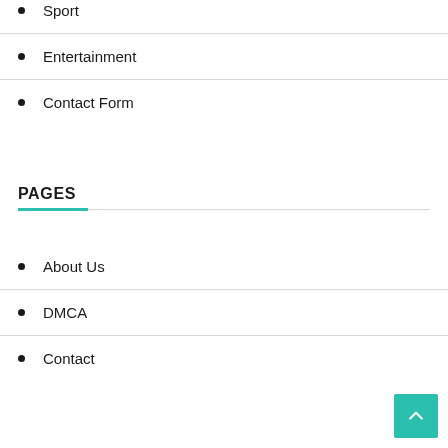Sport
Entertainment
Contact Form
PAGES
About Us
DMCA
Contact